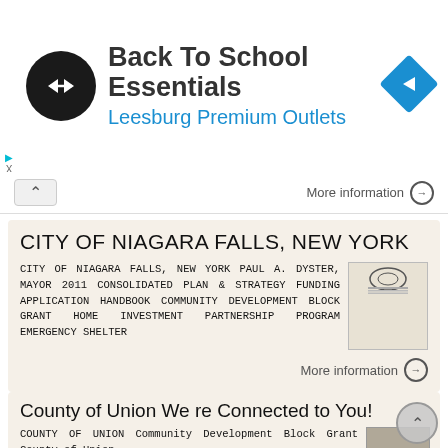[Figure (logo): Ad banner: Back To School Essentials at Leesburg Premium Outlets with circular logo and navigation arrow icon]
More information →
CITY OF NIAGARA FALLS, NEW YORK
CITY OF NIAGARA FALLS, NEW YORK PAUL A. DYSTER, MAYOR 2011 CONSOLIDATED PLAN & STRATEGY FUNDING APPLICATION HANDBOOK COMMUNITY DEVELOPMENT BLOCK GRANT HOME INVESTMENT PARTNERSHIP PROGRAM EMERGENCY SHELTER
More information →
County of Union We re Connected to You!
COUNTY OF UNION Community Development Block Grant County of Union